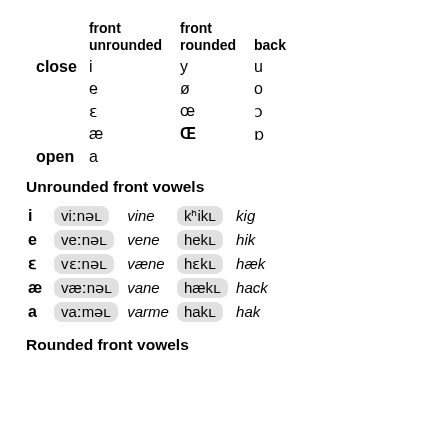|  | front unrounded | front rounded | back |
| --- | --- | --- | --- |
| close | i | y | u |
|  | e | ø | o |
|  | ɛ | œ | ɔ |
|  | æ | Œ | ɒ |
| open | a |  |  |
Unrounded front vowels
|  | IPA | gloss | IPA2 | gloss2 |
| --- | --- | --- | --- | --- |
| i | viːnəɹ | vine | kʰikɹ | kig |
| e | veːnəɹ | vene | hekɹ | hik |
| ɛ | vɛːnəɹ | væne | hɛkɹ | hæk |
| æ | væːnəɹ | vane | hækɹ | hack |
| a | vaːməɹ | varme | hakɹ | hak |
Rounded front vowels